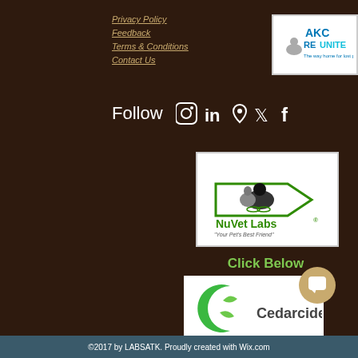Privacy Policy
Feedback
Terms & Conditions
Contact Us
[Figure (logo): AKC Reunite logo - white background with blue AKC Reunite text and dog silhouette]
Follow
[Figure (infographic): Social media icons: Instagram, LinkedIn, Google Maps pin, Twitter, Facebook]
[Figure (logo): NuVet Labs logo with dogs and green arrow, tagline 'Your Pet's Best Friend']
Click Below
[Figure (logo): Cedarcide logo with green C icon and Cedarcide text]
©2017 by LABSATK. Proudly created with Wix.com